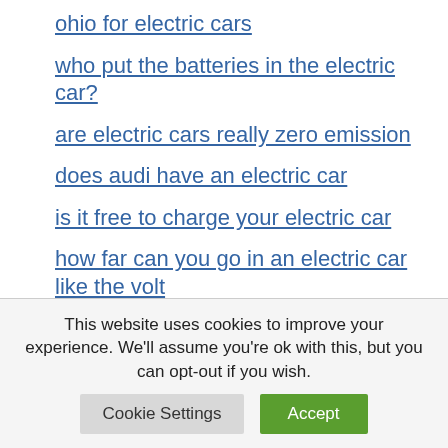ohio for electric cars
who put the batteries in the electric car?
are electric cars really zero emission
does audi have an electric car
is it free to charge your electric car
how far can you go in an electric car like the volt
how many electric cars is on the road
This website uses cookies to improve your experience. We'll assume you're ok with this, but you can opt-out if you wish.